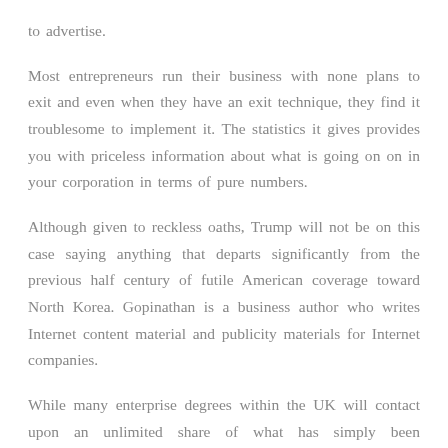to advertise.
Most entrepreneurs run their business with none plans to exit and even when they have an exit technique, they find it troublesome to implement it. The statistics it gives provides you with priceless information about what is going on on in your corporation in terms of pure numbers.
Although given to reckless oaths, Trump will not be on this case saying anything that departs significantly from the previous half century of futile American coverage toward North Korea. Gopinathan is a business author who writes Internet content material and publicity materials for Internet companies.
While many enterprise degrees within the UK will contact upon an unlimited share of what has simply been mentioned, there are a selection of ‘niche’ programs that provide a extra refined focus of a particular subject or